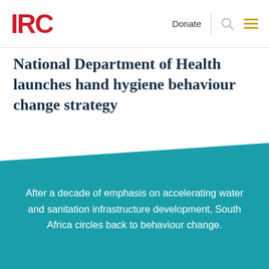IRC | Donate
National Department of Health launches hand hygiene behaviour change strategy
After a decade of emphasis on accelerating water and sanitation infrastructure development, South Africa circles back to behaviour change.